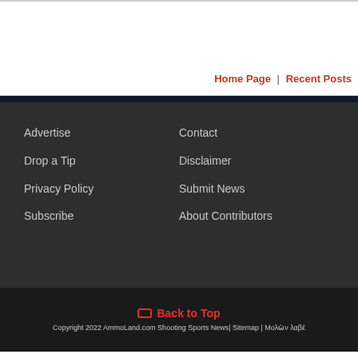Home Page | Recent Posts
Advertise
Drop a Tip
Privacy Policy
Subscribe
Contact
Disclaimer
Submit News
About Contributors
Back to Top
Copyright 2022 AmmoLand.com Shooting Sports News| Sitemap | Μολὼν λαβέ